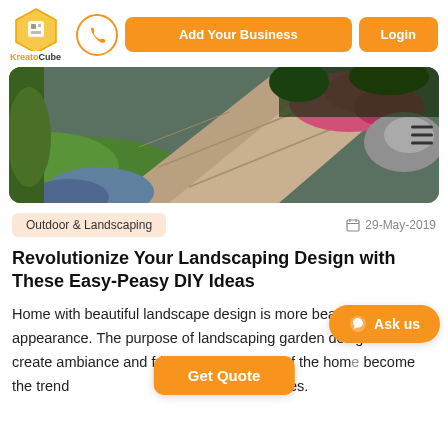KreatoCube | Add Your Business | Login
[Figure (photo): A landscaped garden path with stone pavers, green grass, blue flowering shrubs, pink flowers, and a rock in the background.]
Outdoor & Landscaping
29-May-2019
Revolutionize Your Landscaping Design with These Easy-Peasy DIY Ideas
Home with beautiful landscape design is more beautiful in appearance. The purpose of landscaping garden design is to create ambiance and friendly atmosphere of the hom... become the trend... homes & offices.